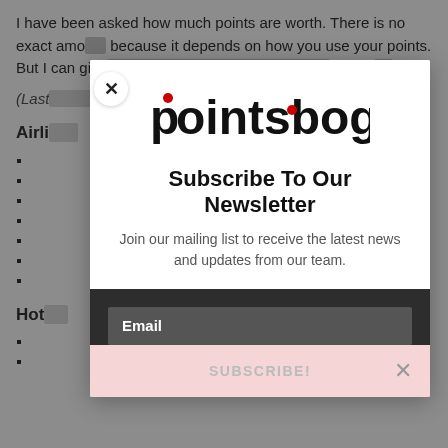I have been asked how much points are worth. There is no exact amount because it depends on how you use your points. But I can give you some guidelines to help you maximize your points.
(Last updated...)
Airli...
Hot...
[Figure (screenshot): Modal popup overlay for pointsbogger website newsletter subscription. Contains the pointsbogger logo, 'Subscribe To Our Newsletter' heading, subtitle text 'Join our mailing list to receive the latest news and updates from our team.', an Email input field, a SUBSCRIBE! button, and a close X button.]